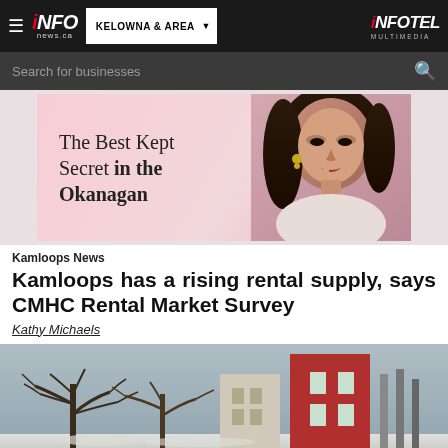iNFOnews.ca — KELOWNA & AREA — INFOTEL MULTIMEDIA
Search for businesses
[Figure (photo): Advertisement banner: 'The Best Kept Secret in the Okanagan' with a woman posing with finger to lips]
Kamloops News
Kamloops has a rising rental supply, says CMHC Rental Market Survey
Kathy Michaels
[Figure (photo): Outdoor winter scene with bare trees in foreground and a red building in background]